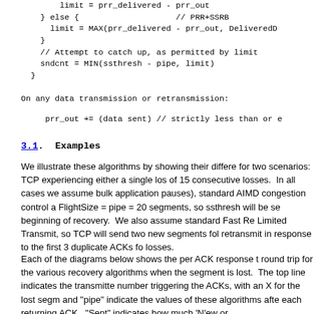limit = prr_delivered - prr_out
    } else {                    // PRR+SSRB
     limit = MAX(prr_delivered - prr_out, DeliveredD
    }
    // Attempt to catch up, as permitted by limit
    sndcnt = MIN(ssthresh - pipe, limit)
  }
On any data transmission or retransmission:
prr_out += (data sent) // strictly less than or e
3.1. Examples
We illustrate these algorithms by showing their differe for two scenarios: TCP experiencing either a single los of 15 consecutive losses.  In all cases we assume bulk application pauses), standard AIMD congestion control a FlightSize = pipe = 20 segments, so ssthresh will be se beginning of recovery.  We also assume standard Fast Re Limited Transmit, so TCP will send two new segments fol retransmit in response to the first 3 duplicate ACKs fo losses.
Each of the diagrams below shows the per ACK response t round trip for the various recovery algorithms when the segment is lost.  The top line indicates the transmitte number triggering the ACKs, with an X for the lost segm and "pipe" indicate the values of these algorithms afte each returning ACK.  "Sent" indicates how much 'N'ew or